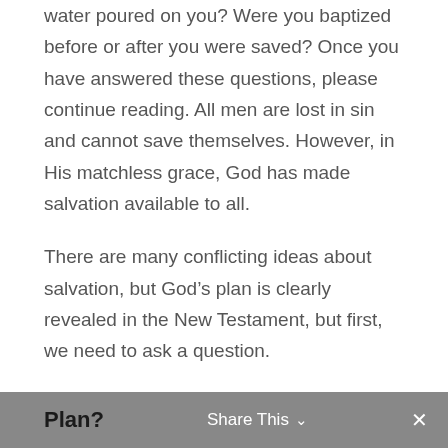water poured on you? Were you baptized before or after you were saved? Once you have answered these questions, please continue reading. All men are lost in sin and cannot save themselves. However, in His matchless grace, God has made salvation available to all.
There are many conflicting ideas about salvation, but God’s plan is clearly revealed in the New Testament, but first, we need to ask a question.
Why Do We Need God’s Plan?
Plan?   Share This ∨   ×